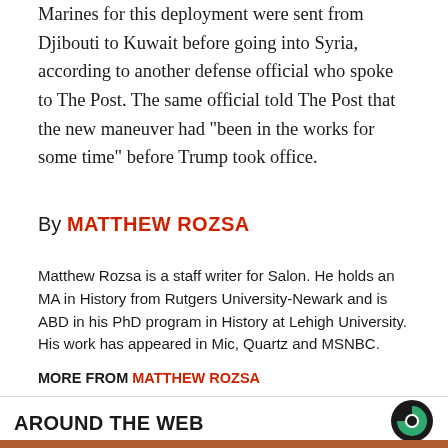Marines for this deployment were sent from Djibouti to Kuwait before going into Syria, according to another defense official who spoke to The Post. The same official told The Post that the new maneuver had "been in the works for some time" before Trump took office.
By MATTHEW ROZSA
Matthew Rozsa is a staff writer for Salon. He holds an MA in History from Rutgers University-Newark and is ABD in his PhD program in History at Lehigh University. His work has appeared in Mic, Quartz and MSNBC.
MORE FROM MATTHEW ROZSA
AROUND THE WEB